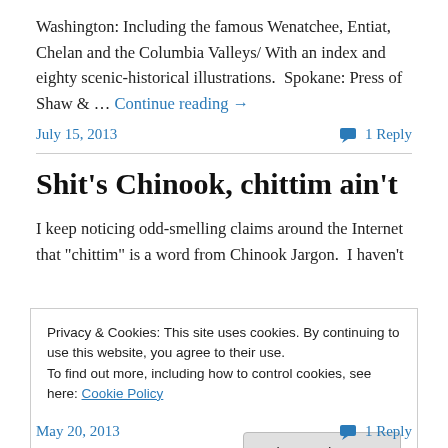Washington: Including the famous Wenatchee, Entiat, Chelan and the Columbia Valleys/ With an index and eighty scenic-historical illustrations.  Spokane: Press of Shaw & … Continue reading →
July 15, 2013   1 Reply
Shit's Chinook, chittim ain't
I keep noticing odd-smelling claims around the Internet that "chittim" is a word from Chinook Jargon.  I haven't
Privacy & Cookies: This site uses cookies. By continuing to use this website, you agree to their use.
To find out more, including how to control cookies, see here: Cookie Policy
Close and accept
May 20, 2013   1 Reply